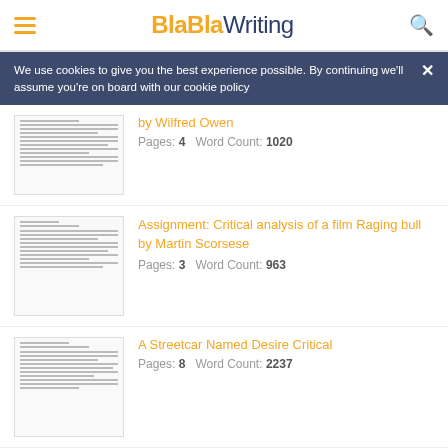BlaBlaWriting
We use cookies to give you the best experience possible. By continuing we'll assume you're on board with our cookie policy
by Wilfred Owen
Pages: 4   Word Count: 1020
Assignment: Critical analysis of a film Raging bull by Martin Scorsese
Pages: 3   Word Count: 963
A Streetcar Named Desire Critical
Pages: 8   Word Count: 2237
The Strange Case Of Dr Jekyll And Mr Hyde Critical
Pages: 5   Word Count: 1519